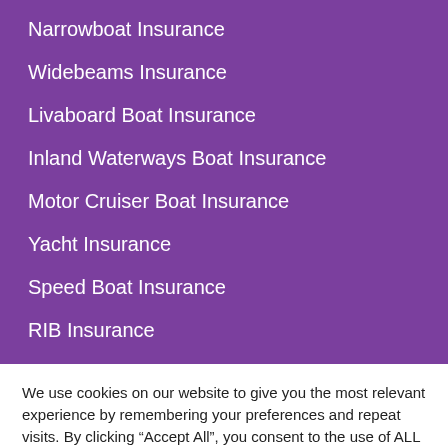Narrowboat Insurance
Widebeams Insurance
Livaboard Boat Insurance
Inland Waterways Boat Insurance
Motor Cruiser Boat Insurance
Yacht Insurance
Speed Boat Insurance
RIB Insurance
We use cookies on our website to give you the most relevant experience by remembering your preferences and repeat visits. By clicking “Accept All”, you consent to the use of ALL the cookies. However, you may visit "Cookie Settings" to provide a controlled consent.